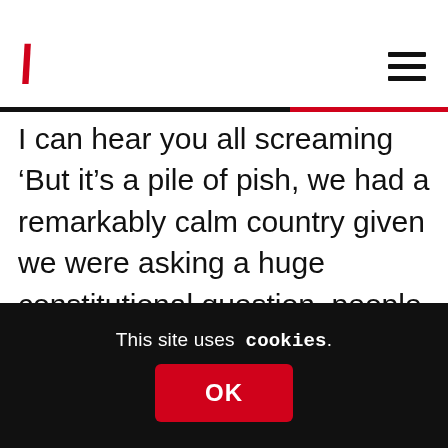V [logo] [hamburger menu]
I can hear you all screaming ‘But it’s a pile of pish, we had a remarkably calm country given we were asking a huge constitutional question, people fight wars over this shit, the worst we had was a few tanked up numpties trying to cause trouble’. I agree with you, but as I said, the regulator isn’t interested in the bigger picture, it ain’t getting involved. You have to make a specific complaint about a specific claim, and if your complaint isn’t
This site uses cookies.
OK